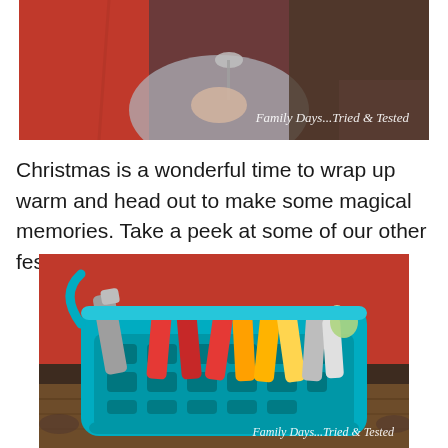[Figure (photo): Child in red coat holding something, outdoor setting. Watermark reads 'Family Days...Tried & Tested']
Christmas is a wonderful time to wrap up warm and head out to make some magical memories. Take a peek at some of our other festive adventures.
[Figure (photo): Blue plastic laundry basket filled with Christmas crackers in gold, red and silver foil, with a small toy bear, outdoors on a wooden surface with red backdrop. Watermark reads 'Family Days...Tried & Tested']